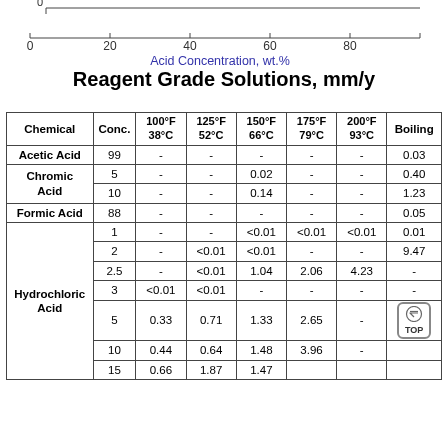[Figure (other): Horizontal axis ruler showing Acid Concentration in wt.% from 0 to 80, with tick marks at 0, 20, 40, 60, 80. A scale bar at top shows 0 mark.]
Reagent Grade Solutions, mm/y
| Chemical | Conc. | 100°F / 38°C | 125°F / 52°C | 150°F / 66°C | 175°F / 79°C | 200°F / 93°C | Boiling |
| --- | --- | --- | --- | --- | --- | --- | --- |
| Acetic Acid | 99 | - | - | - | - | - | 0.03 |
| Chromic Acid | 5 | - | - | 0.02 | - | - | 0.40 |
| Chromic Acid | 10 | - | - | 0.14 | - | - | 1.23 |
| Formic Acid | 88 | - | - | - | - | - | 0.05 |
| Hydrochloric Acid | 1 | - | - | <0.01 | <0.01 | <0.01 | 0.01 |
| Hydrochloric Acid | 2 | - | <0.01 | <0.01 | - | - | 9.47 |
| Hydrochloric Acid | 2.5 | - | <0.01 | 1.04 | 2.06 | 4.23 | - |
| Hydrochloric Acid | 3 | <0.01 | <0.01 | - | - | - | - |
| Hydrochloric Acid | 5 | 0.33 | 0.71 | 1.33 | 2.65 | - | (TOP button) |
| Hydrochloric Acid | 10 | 0.44 | 0.64 | 1.48 | 3.96 | - | (TOP button) |
| Hydrochloric Acid | 15 | 0.66 | 1.87 | 1.47 | ... | ... | ... |